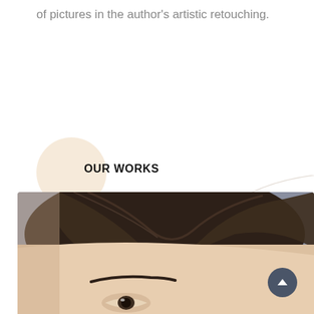of pictures in the author's artistic retouching.
OUR WORKS
[Figure (photo): Close-up portrait photograph of a young woman with dark hair pulled back, showing her forehead, eyebrow, and eye. Background is grey. The image is cropped to show approximately the upper half of the face.]